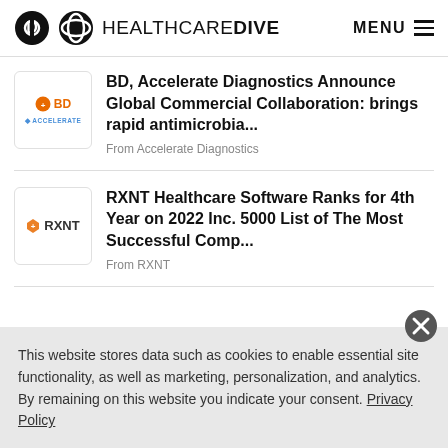HEALTHCARE DIVE  MENU
BD, Accelerate Diagnostics Announce Global Commercial Collaboration: brings rapid antimicrobia...
From Accelerate Diagnostics
RXNT Healthcare Software Ranks for 4th Year on 2022 Inc. 5000 List of The Most Successful Comp...
From RXNT
This website stores data such as cookies to enable essential site functionality, as well as marketing, personalization, and analytics. By remaining on this website you indicate your consent. Privacy Policy